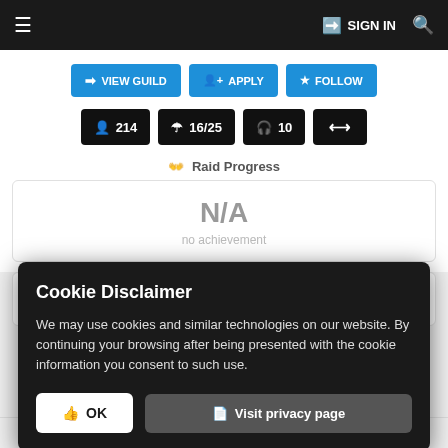≡   → SIGN IN  🔍
VIEW GUILD  + APPLY  ☆ FOLLOW
👤 214  🛡 16/25  🎧 10  📈
👊 Raid Progress
N/A
no achievement
Cookie Disclaimer

We may use cookies and similar technologies on our website. By continuing your browsing after being presented with the cookie information you consent to such use.

👍 OK   📋 Visit privacy page